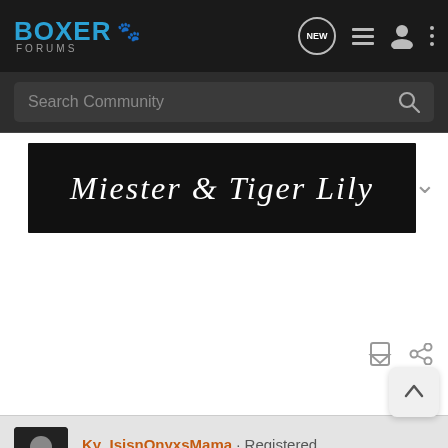[Figure (screenshot): Boxer Forums website navigation bar with logo, NEW button, list icon, user icon, and three-dots menu icon on dark background]
[Figure (screenshot): Search Community search bar on dark grey background with magnifying glass icon]
[Figure (photo): Black banner image with white italic script text reading 'Miester & Tiger Lily']
Ky_IsisnOnyxsMama · Registered
Joined Aug 28, 2007 · 5,692 Posts